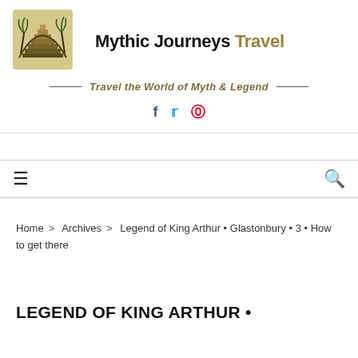[Figure (logo): Mythic Journeys Travel logo with Mayan pyramid and palm trees]
Mythic Journeys Travel
Travel the World of Myth & Legend
[Figure (infographic): Social media icons: Facebook, Twitter, Pinterest]
Navigation bar with hamburger menu and search icon
Home > Archives > Legend of King Arthur • Glastonbury • 3 • How to get there
LEGEND OF KING ARTHUR •